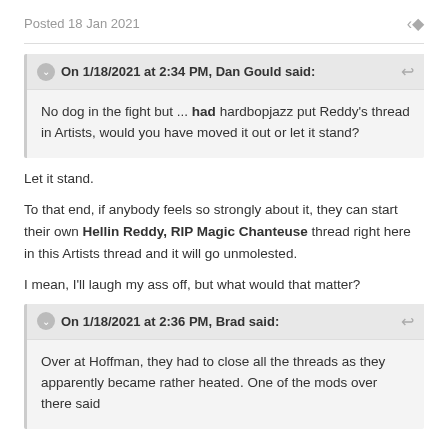Posted 18 Jan 2021
On 1/18/2021 at 2:34 PM, Dan Gould said:
No dog in the fight but ... had hardbopjazz put Reddy's thread in Artists, would you have moved it out or let it stand?
Let it stand.
To that end, if anybody feels so strongly about it, they can start their own Hellin Reddy, RIP Magic Chanteuse thread right here in this Artists thread and it will go unmolested.
I mean, I'll laugh my ass off, but what would that matter?
On 1/18/2021 at 2:36 PM, Brad said:
Over at Hoffman, they had to close all the threads as they apparently became rather heated. One of the mods over there said